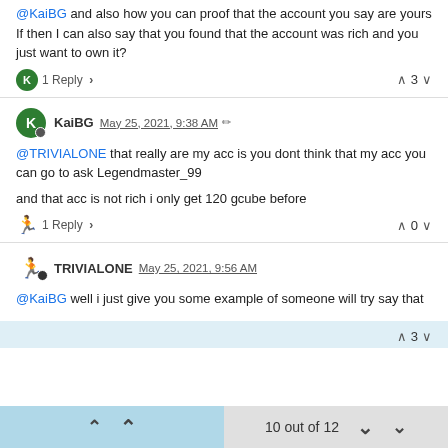@KaiBG and also how you can proof that the account you say are yours
If then I can also say that you found that the account was rich and you just want to own it?
1 Reply  ▲ 3 ▼
KaiBG May 25, 2021, 9:38 AM ✏
@TRIVIALONE that really are my acc is you dont think that my acc you can go to ask Legendmaster_99
and that acc is not rich i only get 120 gcube before
1 Reply  ▲ 0 ▼
TRIVIALONE May 25, 2021, 9:56 AM
@KaiBG well i just give you some example of someone will try say that
▲ 3 ▼
10 out of 12